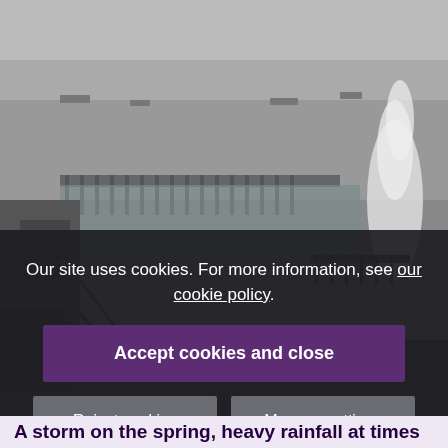[Figure (photo): Black and white historical photograph showing a coastal or harbor scene with what appears to be a stormy sea, a large water geyser or explosion on the right side, piers and structures visible, and ships in the background. The scene suggests a storm or wartime naval bombardment.]
Our site uses cookies. For more information, see our cookie policy.
Accept cookies and close
Reject cookies
Manage settings
A storm on the spring, heavy rainfall at times